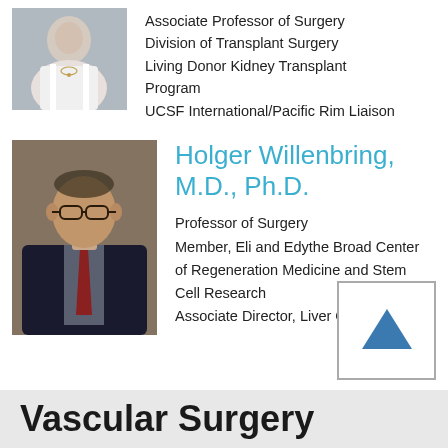[Figure (photo): Partial photo of a woman in white coat with necklace]
Associate Professor of Surgery
Division of Transplant Surgery
Living Donor Kidney Transplant Program
UCSF International/Pacific Rim Liaison
[Figure (photo): Professional headshot of a man in dark suit and glasses]
Holger Willenbring, M.D., Ph.D.
Professor of Surgery
Member, Eli and Edythe Broad Center of Regeneration Medicine and Stem Cell Research
Associate Director, Liver Cente
Vascular Surgery